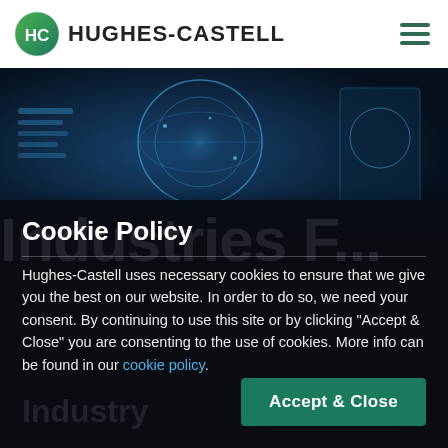[Figure (logo): Hughes-Castell logo with HC circle icon and company name text, plus hamburger menu icon on the right]
[Figure (photo): Technology hero image with blue-tinted digital world map displays and holographic interface screens]
Cookie Policy
Hughes-Castell uses necessary cookies to ensure that we give you the best on our website. In order to do so, we need your consent. By continuing to use this site or by clicking “Accept & Close” you are consenting to the use of cookies. More info can be found in our cookie policy.